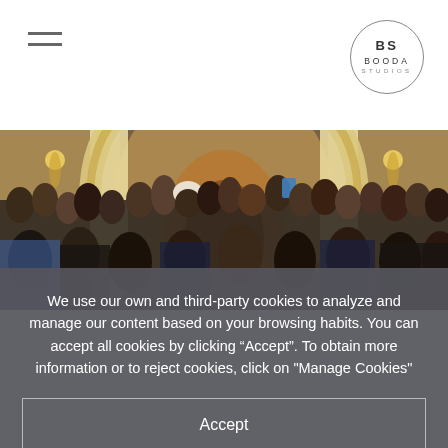BS BOODA STUDIOS (hamburger menu + logo)
[Figure (photo): Elegant ornate Baroque-style venue interior with a grand stone arch, wrought-iron balconies, gilded decorations, chandeliers, and a crowd of people attending an event, photographed from behind.]
We use our own and third-party cookies to analyze and manage our content based on your browsing habits. You can accept all cookies by clicking “Accept”. To obtain more information or to reject cookies, click on "Manage Cookies"
Accept
Manage Cookies